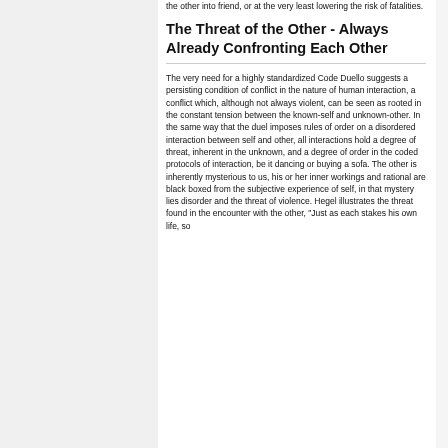the other into friend, or at the very least lowering the risk of fatalities.
The Threat of the Other - Always Already Confronting Each Other
The very need for a highly standardized Code Duello suggests a persisting condition of conflict in the nature of human interaction, a conflict which, although not always violent, can be seen as rooted in the constant tension between the known-self and unknown-other. In the same way that the duel imposes rules of order on a disordered interaction between self and other, all interactions hold a degree of threat, inherent in the unknown, and a degree of order in the coded protocols of interaction, be it dancing or buying a sofa. The other is inherently mysterious to us, his or her inner workings and rational are black boxed from the subjective experience of self, in that mystery lies disorder and the threat of violence. Hegel illustrates the threat found in the encounter with the other, "Just as each stakes his own life, so